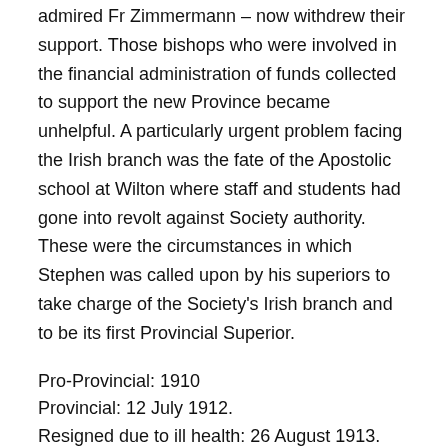admired Fr Zimmermann – now withdrew their support. Those bishops who were involved in the financial administration of funds collected to support the new Province became unhelpful. A particularly urgent problem facing the Irish branch was the fate of the Apostolic school at Wilton where staff and students had gone into revolt against Society authority. These were the circumstances in which Stephen was called upon by his superiors to take charge of the Society's Irish branch and to be its first Provincial Superior.
Pro-Provincial: 1910
Provincial: 12 July 1912.
Resigned due to ill health: 26 August 1913.
The years spent in Liberia had taken their toll. It is recorded that on his return from Liberia Stephen was 'a worn-out missionary, spending weeks and months in the South